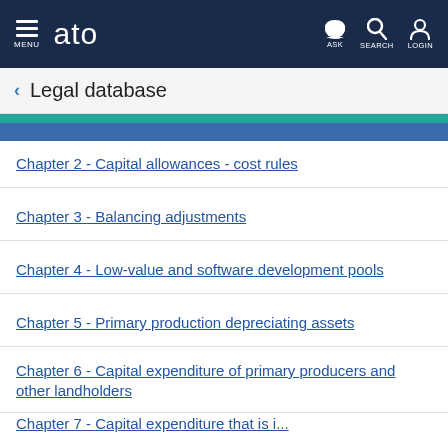MENU | ato | ASK | SEARCH | LOGIN
Legal database
Chapter 2 - Capital allowances - cost rules
Chapter 3 - Balancing adjustments
Chapter 4 - Low-value and software development pools
Chapter 5 - Primary production depreciating assets
Chapter 6 - Capital expenditure of primary producers and other landholders
Chapter 7 - Capital expenditure that is immediately deductible
Chapter 8 - Capital expenditure that is deductible over time
Chapter 9 - Effective life and depreciation rates...